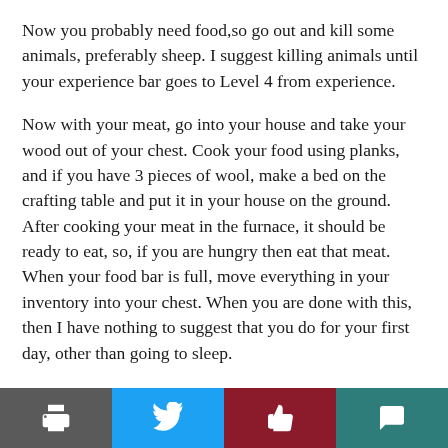Now you probably need food,so go out and kill some animals, preferably sheep. I suggest killing animals until your experience bar goes to Level 4 from experience.
Now with your meat, go into your house and take your wood out of your chest. Cook your food using planks, and if you have 3 pieces of wool, make a bed on the crafting table and put it in your house on the ground. After cooking your meat in the furnace, it should be ready to eat, so, if you are hungry then eat that meat. When your food bar is full, move everything in your inventory into your chest. When you are done with this, then I have nothing to suggest that you do for your first day, other than going to sleep.
If you have time before the sun goes down or you don't have a bed then I suggest decorating your house or
[Figure (other): Social sharing toolbar with four buttons: print (dark grey), Twitter (blue), like/thumbs up (dark red), and comment (teal)]